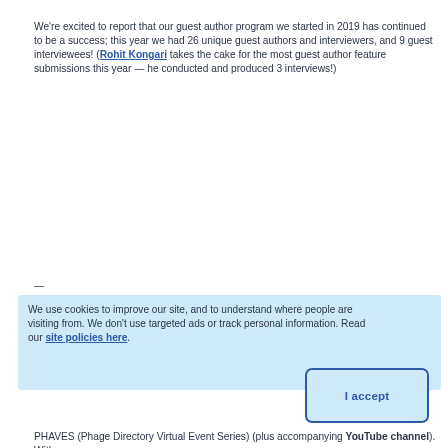We're excited to report that our guest author program we started in 2019 has continued to be a success; this year we had 26 unique guest authors and interviewers, and 9 guest interviewees! (Rohit Kongari takes the cake for the most guest author feature submissions this year — he conducted and produced 3 interviews!)
— [partial line cut off]
We use cookies to improve our site, and to understand where people are visiting from. We don't use targeted ads or track personal information. Read our site policies here.
PHAVES (Phage Directory Virtual Event Series) (plus accompanying YouTube channel). With